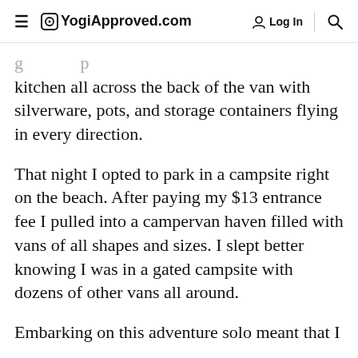YogiApproved.com  Log In
kitchen all across the back of the van with silverware, pots, and storage containers flying in every direction.
That night I opted to park in a campsite right on the beach. After paying my $13 entrance fee I pulled into a campervan haven filled with vans of all shapes and sizes. I slept better knowing I was in a gated campsite with dozens of other vans all around.
Embarking on this adventure solo meant that I